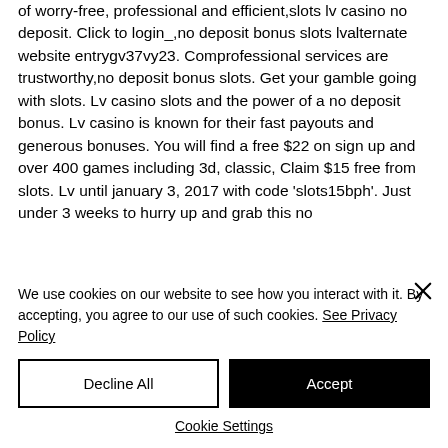of worry-free, professional and efficient,slots lv casino no deposit. Click to login_,no deposit bonus slots lvalternate website entrygv37vy23. Comprofessional services are trustworthy,no deposit bonus slots. Get your gamble going with slots. Lv casino slots and the power of a no deposit bonus. Lv casino is known for their fast payouts and generous bonuses. You will find a free $22 on sign up and over 400 games including 3d, classic, Claim $15 free from slots. Lv until january 3, 2017 with code 'slots15bph'. Just under 3 weeks to hurry up and grab this no
We use cookies on our website to see how you interact with it. By accepting, you agree to our use of such cookies. See Privacy Policy
Decline All
Accept
Cookie Settings